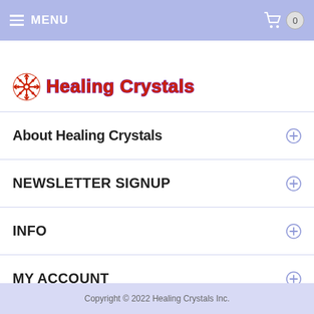MENU
[Figure (logo): Healing Crystals logo with snowflake icon and stylized red-purple text]
About Healing Crystals
NEWSLETTER SIGNUP
INFO
MY ACCOUNT
COMMUNITY
Copyright © 2022 Healing Crystals Inc.